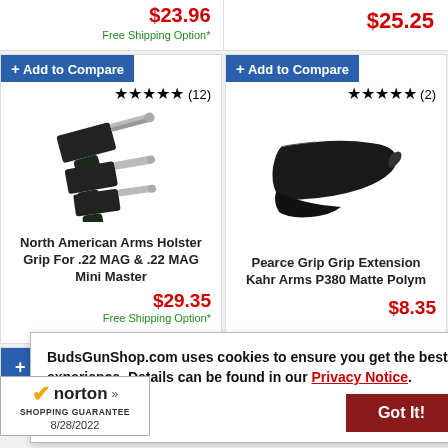$23.96
Free Shipping Option*
$25.25
+ Add to Compare
★★★★★ (12)
[Figure (photo): North American Arms derringer pistols with holster grips, shown in three sizes]
North American Arms Holster Grip For .22 MAG & .22 MAG Mini Master
$29.35
Free Shipping Option*
+ Add to Compare
★★★★★ (2)
[Figure (photo): Pearce Grip Extension for Kahr Arms P380, matte polymer, black]
Pearce Grip Grip Extension Kahr Arms P380 Matte Polym
$8.35
+ (partial Add to Compare button visible)
BudsGunShop.com uses cookies to ensure you get the best experience. Details can be found in our Privacy Notice.
Got It!
[Figure (logo): Norton Shopping Guarantee badge with checkmark, date 8/28/2022]